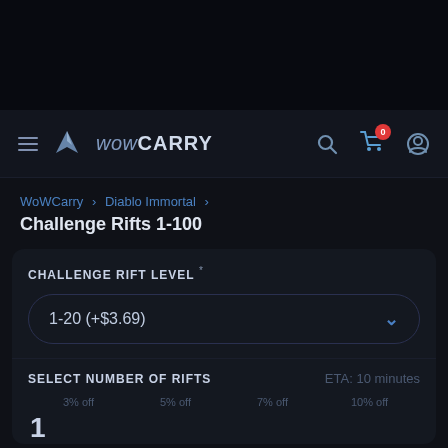WoW CARRY
WoWCarry > Diablo Immortal >
Challenge Rifts 1-100
CHALLENGE RIFT LEVEL *
1-20 (+$3.69)
SELECT NUMBER OF RIFTS
ETA: 10 minutes
3% off
5% off
7% off
10% off
1